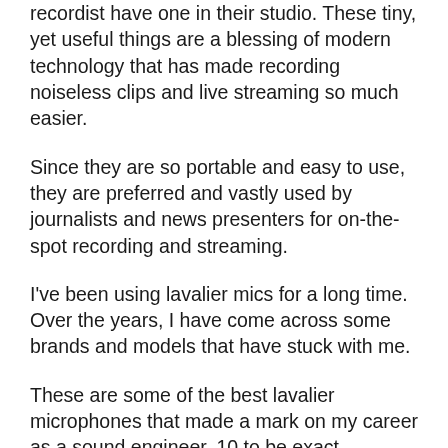recordist have one in their studio. These tiny, yet useful things are a blessing of modern technology that has made recording noiseless clips and live streaming so much easier.
Since they are so portable and easy to use, they are preferred and vastly used by journalists and news presenters for on-the-spot recording and streaming.
I've been using lavalier mics for a long time. Over the years, I have come across some brands and models that have stuck with me.
These are some of the best lavalier microphones that made a mark on my career as a sound engineer. 10 to be exact.